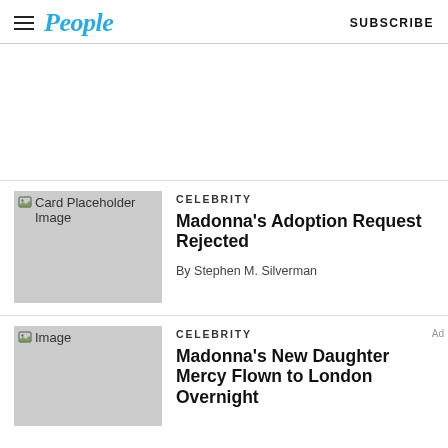People — SUBSCRIBE
[Figure (other): Card placeholder image — gray rectangle with broken image icon and text 'Card Placeholder Image']
CELEBRITY
Madonna's Adoption Request Rejected
By Stephen M. Silverman
[Figure (photo): Image placeholder — gray rectangle with broken image icon and text 'Image']
CELEBRITY
Madonna's New Daughter Mercy Flown to London Overnight